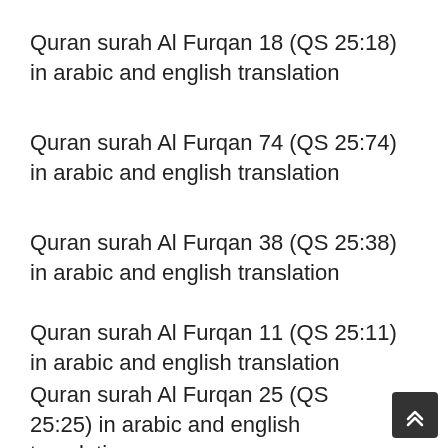Quran surah Al Furqan 18 (QS 25:18) in arabic and english translation
Quran surah Al Furqan 74 (QS 25:74) in arabic and english translation
Quran surah Al Furqan 38 (QS 25:38) in arabic and english translation
Quran surah Al Furqan 11 (QS 25:11) in arabic and english translation
Quran surah Al Furqan 25 (QS 25:25) in arabic and english translation